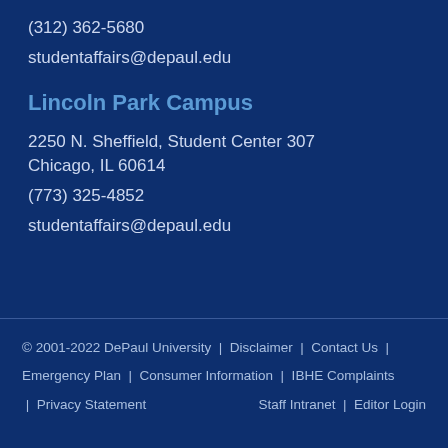(312) 362-5680
studentaffairs@depaul.edu
Lincoln Park Campus
2250 N. Sheffield, Student Center 307
Chicago, IL 60614
(773) 325-4852
studentaffairs@depaul.edu
© 2001-2022 DePaul University  |  Disclaimer  |  Contact Us  |  Emergency Plan  |  Consumer Information  |  IBHE Complaints  |  Privacy Statement        Staff Intranet  |  Editor Login